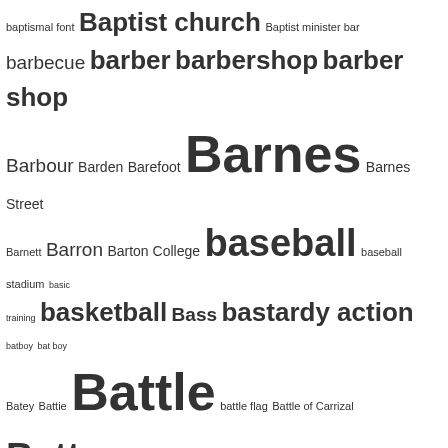baptismal font Baptist church Baptist minister bar barbecue barber barbershop barber shop Barbour Barden Barefoot Barnes Barnes Street Barnett Barron Barton College baseball baseball stadium basic training basketball Bass bastardy action batboy bat boy Batey Battie Battle battle flag Battle of Carrizal Batts Batts Brothers & Artis bazaar BB&T Beamon bear Beaufort County NC beauty culture beauty salon beer Bell Bellamy bellhop Beloved Community benefit Bennett Bennett College bereavement Bermuda Bess Best Bethea Bethel Bethel AME Zion Bethune Bible bicycle bicycle accident Biddle University bigamy bill billiards bill of sale Biltmore Hotel Bingle bingo Biography biracial Bird bird's eye view Birney birth certificate birthday birthday party Bishop Black Black August Blackburn Black Creek Black Creek Road Black Creek township blackface Black History Month Black Lives Matter Blackman Black Second blacksmith blacksmith shop Black Star Line Blackston Blackwell Blake